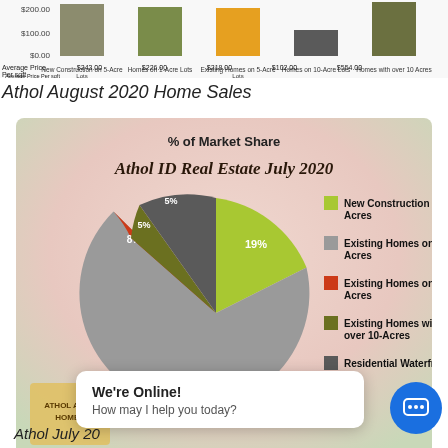[Figure (bar-chart): Partial bar chart visible at top of page showing price per sqft for New Construction on 5-Acre Lots ($243), Homes on 1-Acre Lots ($226), Existing Homes on 5-Acre Lots ($218), Homes on 10-Acre Lots ($102), Homes with over 10 Acres ($554)]
Athol August 2020 Home Sales
[Figure (pie-chart): % of Market Share — Athol ID Real Estate July 2020]
Athol July 2020 Home Sales